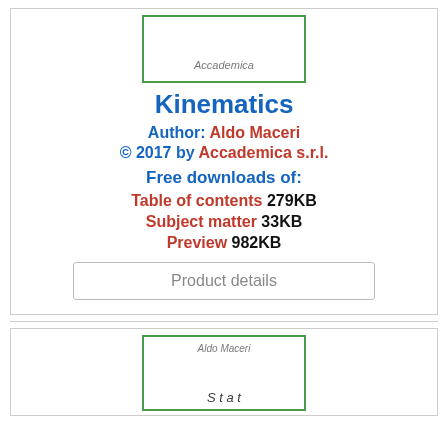[Figure (illustration): Book cover image with green border showing 'Accademica' label]
Kinematics
Author: Aldo Maceri
© 2017 by Accademica s.r.l.
Free downloads of:
Table of contents 279KB
Subject matter 33KB
Preview 982KB
Product details
[Figure (illustration): Second book cover image with green border showing 'Aldo Maceri' and partial title text]